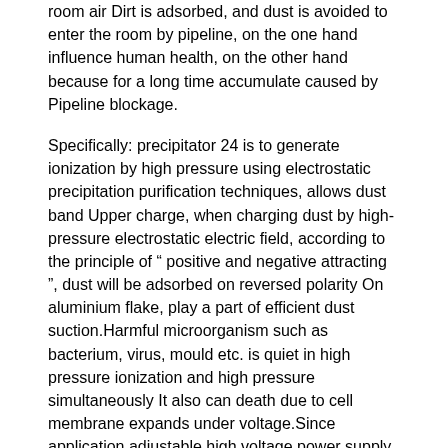room air Dirt is adsorbed, and dust is avoided to enter the room by pipeline, on the one hand influence human health, on the other hand because for a long time accumulate caused by Pipeline blockage.
Specifically: precipitator 24 is to generate ionization by high pressure using electrostatic precipitation purification techniques, allows dust band Upper charge, when charging dust by high-pressure electrostatic electric field, according to the principle of " positive and negative attracting ", dust will be adsorbed on reversed polarity On aluminium flake, play a part of efficient dust suction.Harmful microorganism such as bacterium, virus, mould etc. is quiet in high pressure ionization and high pressure simultaneously It also can death due to cell membrane expands under voltage.Since application adjustable high voltage power supply controls, double control is realized to electric current, voltage, The controllability for realizing high efficiency of dust collection and ozone has good effect to the PM2.5 dust particle in removal air.
Primary filter 25, primary filter 25 are mounted on the lower section of precipitator 24, are detachably connected, and are used for the interior space Primary filter...